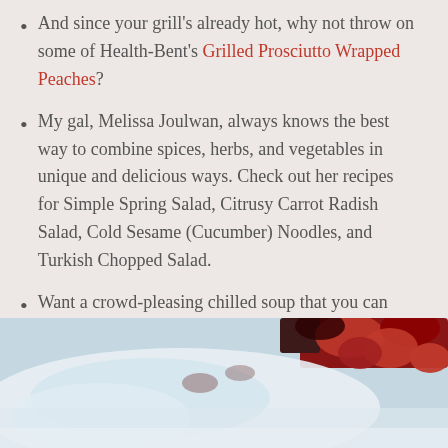And since your grill's already hot, why not throw on some of Health-Bent's Grilled Prosciutto Wrapped Peaches?
My gal, Melissa Joulwan, always knows the best way to combine spices, herbs, and vegetables in unique and delicious ways. Check out her recipes for Simple Spring Salad, Citrusy Carrot Radish Salad, Cold Sesame (Cucumber) Noodles, and Turkish Chopped Salad.
Want a crowd-pleasing chilled soup that you can make ahead of time? Try my Watermelon and Tomato Gazpacho!
[Figure (photo): Partial photo of a food dish, showing what appears to be fruits or vegetables in a bowl or plate, with dark and red tones visible at the top and lighter tones below.]